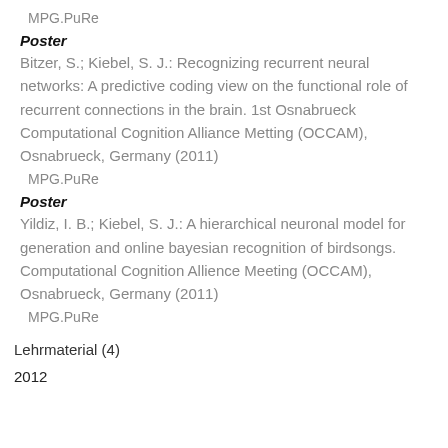MPG.PuRe
Poster
Bitzer, S.; Kiebel, S. J.: Recognizing recurrent neural networks: A predictive coding view on the functional role of recurrent connections in the brain. 1st Osnabrueck Computational Cognition Alliance Metting (OCCAM), Osnabrueck, Germany (2011)
MPG.PuRe
Poster
Yildiz, I. B.; Kiebel, S. J.: A hierarchical neuronal model for generation and online bayesian recognition of birdsongs. Computational Cognition Allience Meeting (OCCAM), Osnabrueck, Germany (2011)
MPG.PuRe
Lehrmaterial (4)
2012